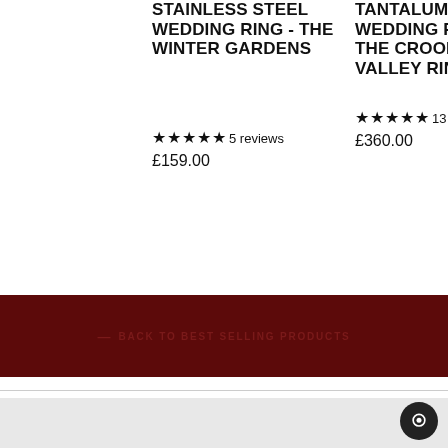STAINLESS STEEL WEDDING RING - THE WINTER GARDENS
★★★★★ 5 reviews
£159.00
TANTALUM WEDDING RING - THE CROOKES VALLEY RING
★★★★★ 13 reviews
£360.00
← BACK TO BEST SELLING PRODUCTS